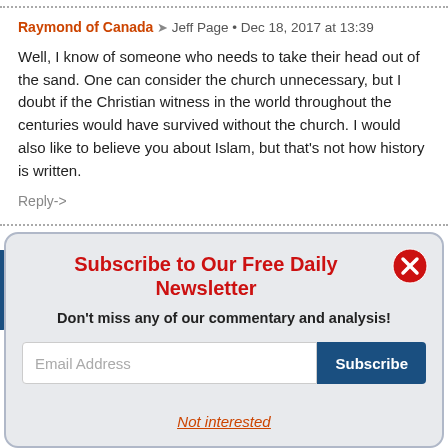Raymond of Canada → Jeff Page • Dec 18, 2017 at 13:39
Well, I know of someone who needs to take their head out of the sand. One can consider the church unnecessary, but I doubt if the Christian witness in the world throughout the centuries would have survived without the church. I would also like to believe you about Islam, but that's not how history is written.
Reply->
Subscribe to Our Free Daily Newsletter
Don't miss any of our commentary and analysis!
Email Address
Subscribe
Not interested